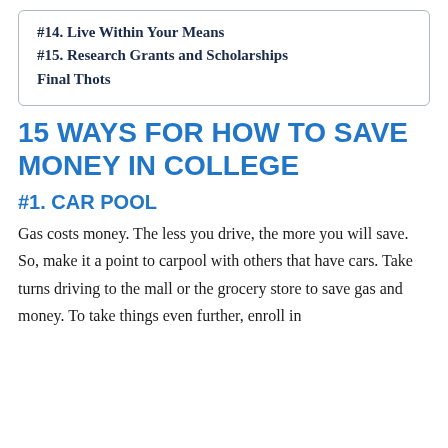#14. Live Within Your Means
#15. Research Grants and Scholarships
Final Thots
15 WAYS FOR HOW TO SAVE MONEY IN COLLEGE
#1. CAR POOL
Gas costs money. The less you drive, the more you will save. So, make it a point to carpool with others that have cars. Take turns driving to the mall or the grocery store to save gas and money. To take things even further, enroll in